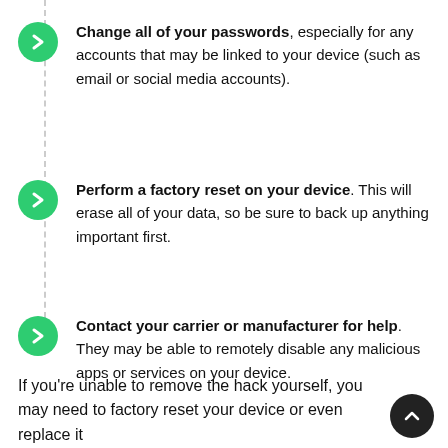Change all of your passwords, especially for any accounts that may be linked to your device (such as email or social media accounts).
Perform a factory reset on your device. This will erase all of your data, so be sure to back up anything important first.
Contact your carrier or manufacturer for help. They may be able to remotely disable any malicious apps or services on your device.
If you're unable to remove the hack yourself, you may need to factory reset your device or even replace it